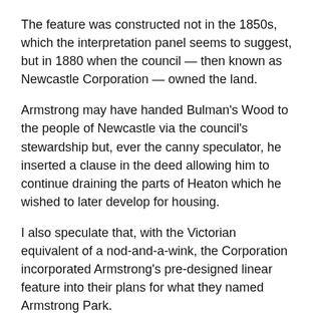The feature was constructed not in the 1850s, which the interpretation panel seems to suggest, but in 1880 when the council — then known as Newcastle Corporation — owned the land.
Armstrong may have handed Bulman's Wood to the people of Newcastle via the council's stewardship but, ever the canny speculator, he inserted a clause in the deed allowing him to continue draining the parts of Heaton which he wished to later develop for housing.
I also speculate that, with the Victorian equivalent of a nod-and-a-wink, the Corporation incorporated Armstrong's pre-designed linear feature into their plans for what they named Armstrong Park.
Remarks on a cutting